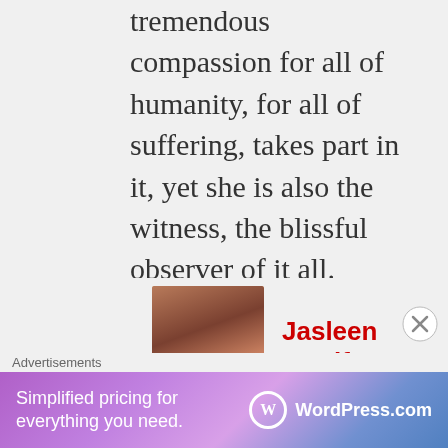tremendous compassion for all of humanity, for all of suffering, takes part in it, yet she is also the witness, the blissful observer of it all.
Like
Log in to Reply
[Figure (photo): Profile photo of Jasleen Manifests, a woman in a red/pink top against a blue background]
Jasleen Manifests
... 23, 2021 at 12:25
Advertisements
[Figure (screenshot): WordPress.com advertisement banner: Simplified pricing for everything you need.]